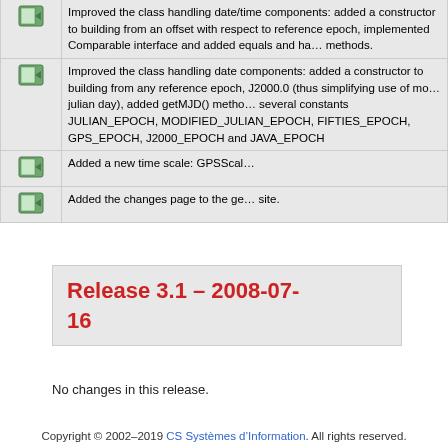|  | Description |
| --- | --- |
| [icon] | Improved the class handling date components: added a constructor to building from an offset with respect to reference epoch, implemented Comparable interface and added equals and hashCode methods. |
| [icon] | Improved the class handling date components: added a constructor to building from any reference epoch, J2000.0 (thus simplifying use of modified julian day), added getMJD() method, added several constants JULIAN_EPOCH, MODIFIED_JULIAN_EPOCH, FIFTIES_EPOCH, GPS_EPOCH, J2000_EPOCH and JAVA_EPOCH |
| [icon] | Added a new time scale: GPSScale |
| [icon] | Added the changes page to the generated site. |
Release 3.1 – 2008-07-16
No changes in this release.
Copyright © 2002–2019 CS Systèmes d'Information. All rights reserved.